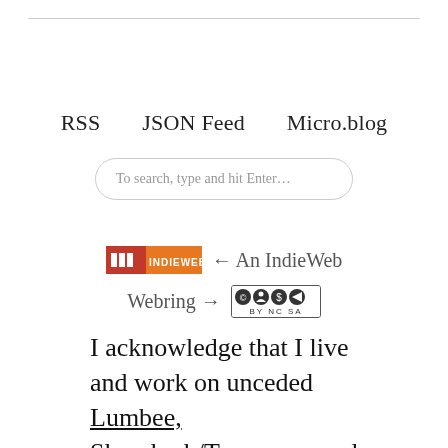RSS    JSON Feed    Micro.blog
To search, type and hit Enter…
[Figure (logo): IndieWeb webring badge with red/orange logo followed by left arrow and text '← An IndieWeb Webring →' and Creative Commons BY NC SA license badge]
I acknowledge that I live and work on unceded Lumbee, Skaruhreh/Tuscarora, and Shakori land. I give respect